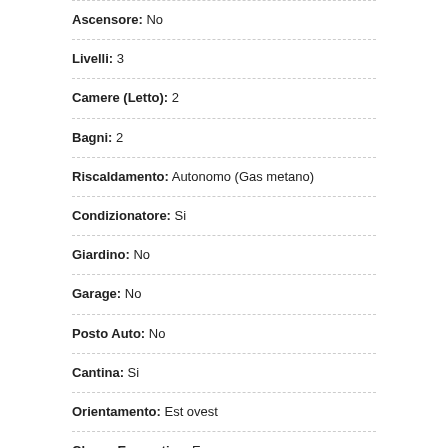Ascensore: No
Livelli: 3
Camere (Letto): 2
Bagni: 2
Riscaldamento: Autonomo (Gas metano)
Condizionatore: Si
Giardino: No
Garage: No
Posto Auto: No
Cantina: Si
Orientamento: Est ovest
Classe Energetica: E
IPE: 127.22 kWh/mq